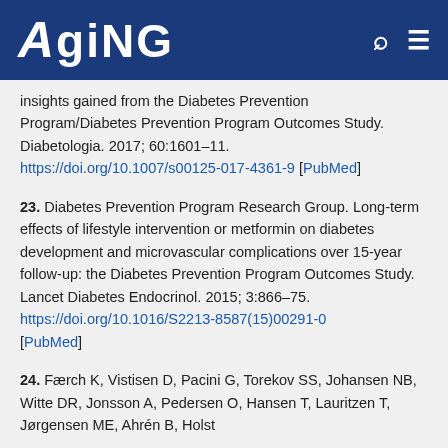AGING
insights gained from the Diabetes Prevention Program/Diabetes Prevention Program Outcomes Study. Diabetologia. 2017; 60:1601–11. https://doi.org/10.1007/s00125-017-4361-9 [PubMed]
23. Diabetes Prevention Program Research Group. Long-term effects of lifestyle intervention or metformin on diabetes development and microvascular complications over 15-year follow-up: the Diabetes Prevention Program Outcomes Study. Lancet Diabetes Endocrinol. 2015; 3:866–75. https://doi.org/10.1016/S2213-8587(15)00291-0 [PubMed]
24. Færch K, Vistisen D, Pacini G, Torekov SS, Johansen NB, Witte DR, Jonsson A, Pedersen O, Hansen T, Lauritzen T, Jørgensen ME, Ahrén B, Holst